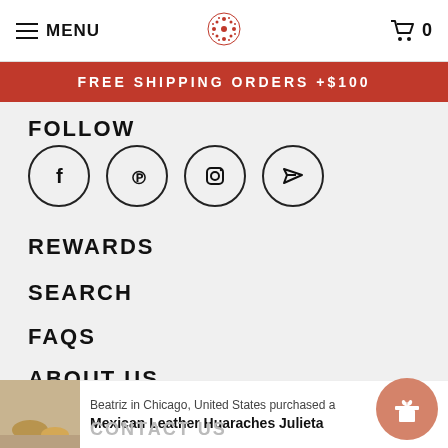MENU | [logo] | 0
FREE SHIPPING ORDERS +$100
FOLLOW
[Figure (illustration): Four social media icon circles: Facebook (f), Pinterest (P), Instagram (camera), and a paper airplane (share/email)]
REWARDS
SEARCH
FAQS
ABOUT US
BECOME AN AMBASSADOR
CONTACT US
Beatriz in Chicago, United States purchased a
Mexican Leather Huaraches Julieta